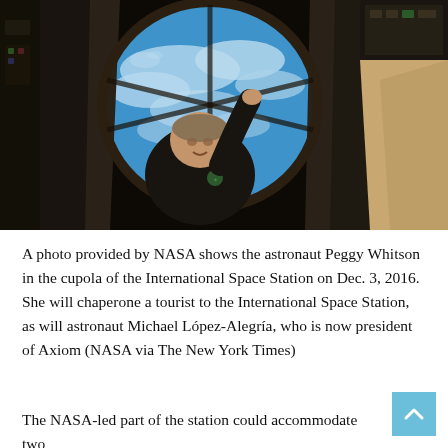[Figure (photo): A photo provided by NASA showing astronaut Peggy Whitson floating in the cupola of the International Space Station. She is wearing a black shirt and looking up at the camera. Through the large circular cupola window, Earth with clouds and blue ocean is visible.]
A photo provided by NASA shows the astronaut Peggy Whitson in the cupola of the International Space Station on Dec. 3, 2016. She will chaperone a tourist to the International Space Station, as will astronaut Michael López-Alegría, who is now president of Axiom (NASA via The New York Times)
The NASA-led part of the station could accommodate two